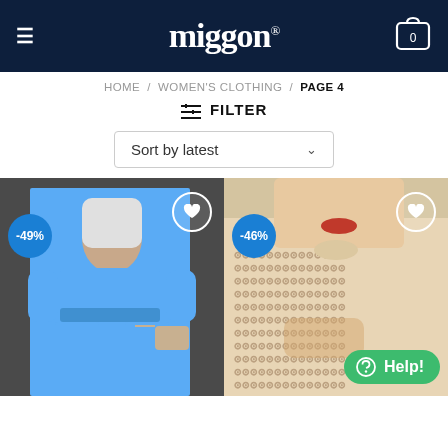miggon
HOME / WOMEN'S CLOTHING / PAGE 4
≡ FILTER
Sort by latest
[Figure (photo): Woman wearing a blue short-sleeve wide-leg jumpsuit with tie waist, carrying a beige bag. -49% discount badge shown.]
[Figure (photo): Woman wearing a cream/beige patterned mock-neck top with GG-style repeating logo pattern. -46% discount badge shown. Help button visible.]